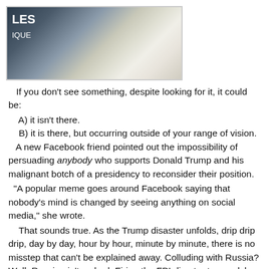[Figure (photo): A close-up photograph of what appears to be a white marble or plaster sculpture, with some signage visible in the background showing partial text 'LES' and 'IQUE'.]
If you don't see something, despite looking for it, it could be:
A) it isn't there.
B) it is there, but occurring outside of your range of vision.
A new Facebook friend pointed out the impossibility of persuading anybody who supports Donald Trump and his malignant botch of a presidency to reconsider their position.
"A popular meme goes around Facebook saying that nobody's mind is changed by seeing anything on social media," she wrote.
That sounds true. As the Trump disaster unfolds, drip drip drip, day by day, hour by hour, minute by minute, there is no misstep that can't be explained away. Colluding with Russia? Well, Russia ain't so bad. Firing the FBI director to squelch the investigation? Well, he's allowed to do that. Receiving money from foreign governments in violation of the Constitution? Good business!